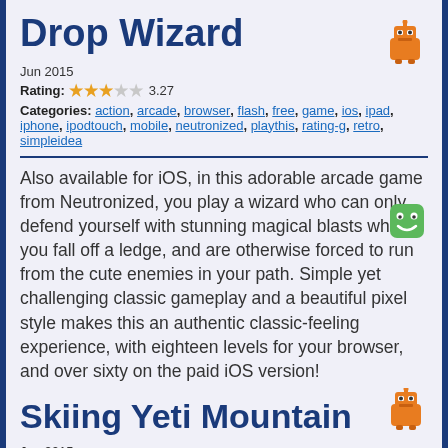Drop Wizard
Jun 2015
Rating: ★★★☆☆ 3.27
Categories: action, arcade, browser, flash, free, game, ios, ipad, iphone, ipodtouch, mobile, neutronized, playthis, rating-g, retro, simpleidea
Also available for iOS, in this adorable arcade game from Neutronized, you play a wizard who can only defend yourself with stunning magical blasts when you fall off a ledge, and are otherwise forced to run from the cute enemies in your path. Simple yet challenging classic gameplay and a beautiful pixel style makes this an authentic classic-feeling experience, with eighteen levels for your browser, and over sixty on the paid iOS version!
Skiing Yeti Mountain
Jun 2015
Rating: ☆☆☆☆☆ (not enough votes yet)